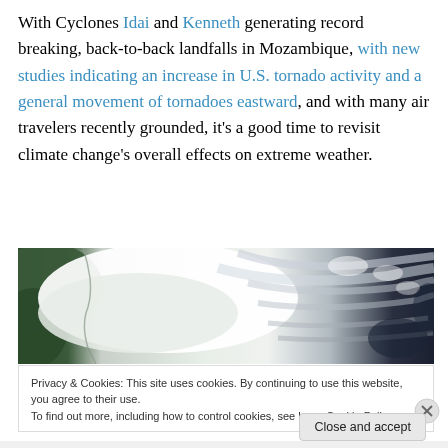With Cyclones Idai and Kenneth generating record breaking, back-to-back landfalls in Mozambique, with new studies indicating an increase in U.S. tornado activity and a general movement of tornadoes eastward, and with many air travelers recently grounded, it's a good time to revisit climate change's overall effects on extreme weather.
[Figure (photo): Satellite image showing a cyclone/hurricane system over the ocean with swirling cloud formations]
Privacy & Cookies: This site uses cookies. By continuing to use this website, you agree to their use. To find out more, including how to control cookies, see here: Cookie Policy